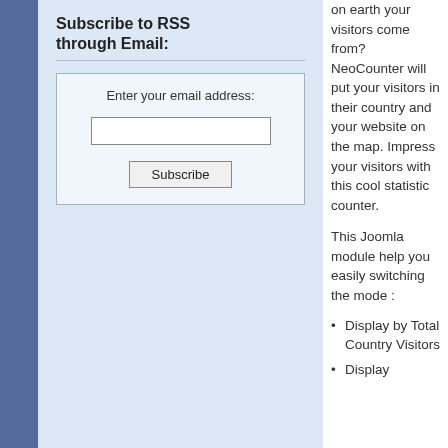Subscribe to RSS through Email:
Enter your email address:
on earth your visitors come from? NeoCounter will put your visitors in their country and your website on the map. Impress your visitors with this cool statistic counter.
This Joomla module help you easily switching the mode :
Display by Total Country Visitors
Display